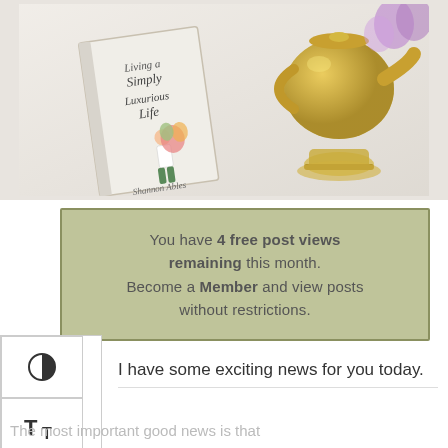[Figure (photo): Photo of a book titled 'Living a Simply Luxurious Life' by Shannon Ables, displayed alongside a gold tea pot and cup on a white surface with flowers]
You have 4 free post views remaining this month. Become a Member and view posts without restrictions.
I have some exciting news for you today.
The most important good news is that